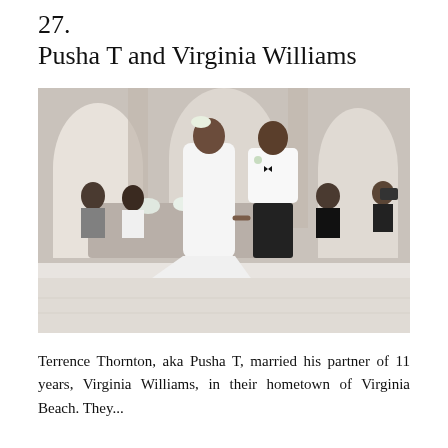27.
Pusha T and Virginia Williams
[Figure (photo): Wedding photo of Pusha T (Terrence Thornton) in a white tuxedo jacket with bow tie, holding hands with Virginia Williams in a white strapless wedding gown with a train. They are dancing/walking together on a white dance floor in an elegant ballroom reception venue. Guests are applauding in the background, and a floral-decorated reception table is visible behind them.]
Terrence Thornton, aka Pusha T, married his partner of 11 years, Virginia Williams, in their hometown of Virginia Beach. They...